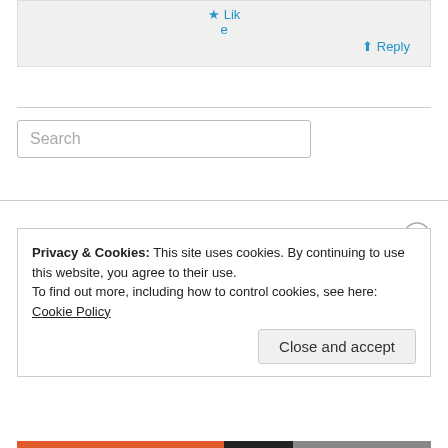Lik e
↳ Reply
Search
Privacy & Cookies: This site uses cookies. By continuing to use this website, you agree to their use.
To find out more, including how to control cookies, see here: Cookie Policy
Close and accept